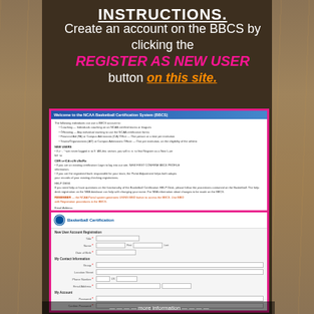INSTRUCTIONS.
Create an account on the BBCS by clicking the REGISTER AS NEW USER button on this site.
[Figure (screenshot): Screenshot of the NCAA Basketball Certification System (BBCS) login/welcome page showing registration information and login fields.]
Complete all required information.
[Figure (screenshot): Screenshot of the NCAA Basketball Certification New User Account Registration form with fields for Title, Name, Date of Birth, My Contact Information (Group, Location Street, Phone Number, Email Address), and My Account fields.]